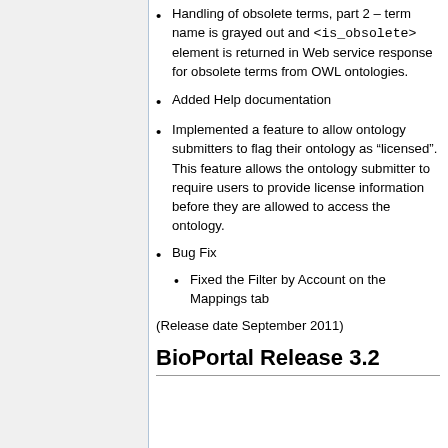Handling of obsolete terms, part 2 – term name is grayed out and <is_obsolete> element is returned in Web service response for obsolete terms from OWL ontologies.
Added Help documentation
Implemented a feature to allow ontology submitters to flag their ontology as “licensed”. This feature allows the ontology submitter to require users to provide license information before they are allowed to access the ontology.
Bug Fix
Fixed the Filter by Account on the Mappings tab
(Release date September 2011)
BioPortal Release 3.2